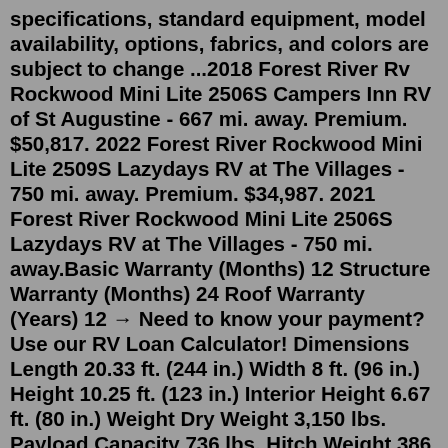specifications, standard equipment, model availability, options, fabrics, and colors are subject to change ...2018 Forest River Rv Rockwood Mini Lite 2506S Campers Inn RV of St Augustine - 667 mi. away. Premium. $50,817. 2022 Forest River Rockwood Mini Lite 2509S Lazydays RV at The Villages - 750 mi. away. Premium. $34,987. 2021 Forest River Rockwood Mini Lite 2506S Lazydays RV at The Villages - 750 mi. away.Basic Warranty (Months) 12 Structure Warranty (Months) 24 Roof Warranty (Years) 12 → Need to know your payment? Use our RV Loan Calculator! Dimensions Length 20.33 ft. (244 in.) Width 8 ft. (96 in.) Height 10.25 ft. (123 in.) Interior Height 6.67 ft. (80 in.) Weight Dry Weight 3,150 lbs. Payload Capacity 736 lbs. Hitch Weight 386 lbs. Holding TanksWith all the comforts of home, this Rockwood Mini Lite 2104S Travel Trailer intensifies your RV camping experience and features a stove with 3 oven burners, Mid-Size refrigerator, 1 TVs, and more. This Rockwood Mini Lite 2104S, has a payload capacity of 1922 lbs.